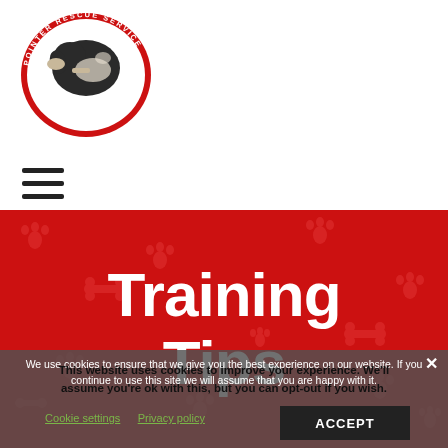[Figure (logo): Pointer Rescue Service circular oval logo with dog illustration, red border, text 'POINTER RESCUE SERVICE' and 'Founded 1975 · Top Quality Service']
[Figure (other): Hamburger menu icon with three horizontal lines]
Training Tips
We use cookies to ensure that we give you the best experience on our website. If you continue to use this site we will assume that you are happy with it.
This website uses cookies to improve your experience. We'll assume you're ok with this, but you can opt-out if you wish.
Cookie settings   Privacy policy   ACCEPT